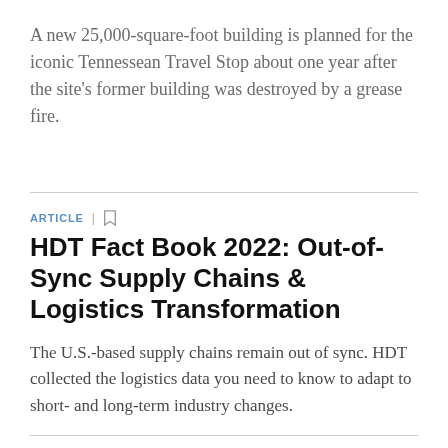A new 25,000-square-foot building is planned for the iconic Tennessean Travel Stop about one year after the site's former building was destroyed by a grease fire.
ARTICLE
HDT Fact Book 2022: Out-of-Sync Supply Chains & Logistics Transformation
The U.S.-based supply chains remain out of sync. HDT collected the logistics data you need to know to adapt to short- and long-term industry changes.